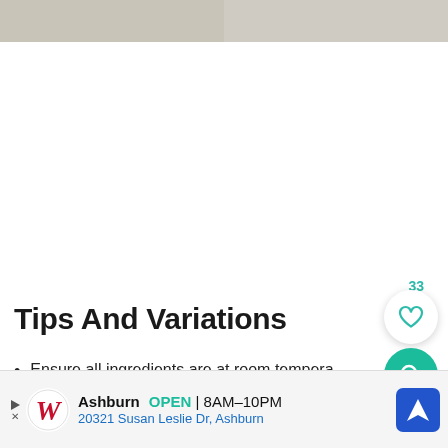[Figure (photo): Top photo strip showing partial image of food preparation, split into two panels]
Tips And Variations
Ensure all ingredients are at room tempera...
[Figure (screenshot): Walgreens advertisement banner: Ashburn OPEN 8AM-10PM, 20321 Susan Leslie Dr, Ashburn]